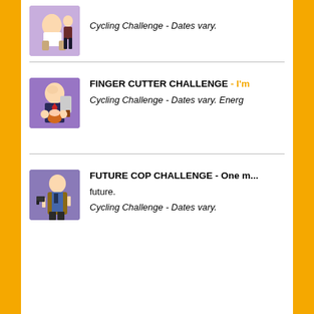Cycling Challenge - Dates vary.
FINGER CUTTER CHALLENGE - I'm... Cycling Challenge - Dates vary. Energ...
FUTURE COP CHALLENGE - One m... future. Cycling Challenge - Dates vary.